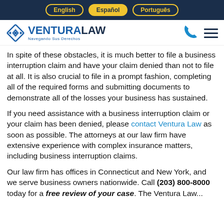English | Español | Português
[Figure (logo): Ventura Law logo with diamond icon and tagline 'Navegando Sus Derechos']
In spite of these obstacles, it is much better to file a business interruption claim and have your claim denied than not to file at all. It is also crucial to file in a prompt fashion, completing all of the required forms and submitting documents to demonstrate all of the losses your business has sustained.
If you need assistance with a business interruption claim or your claim has been denied, please contact Ventura Law as soon as possible. The attorneys at our law firm have extensive experience with complex insurance matters, including business interruption claims.
Our law firm has offices in Connecticut and New York, and we serve business owners nationwide. Call (203) 800-8000 today for a free review of your case. The Ventura Law...